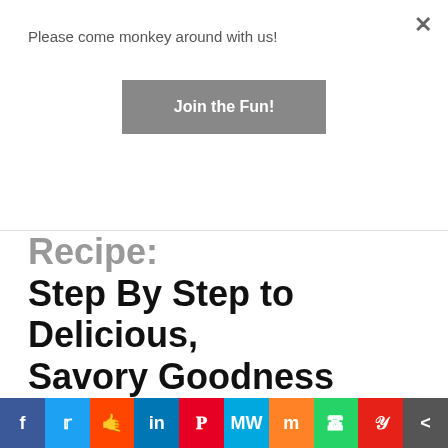Please come monkey around with us!
Join the Fun!
Fried Mushrooms Recipe: Step By Step to Delicious, Savory Goodness
August 29, 2021  Kaycee  11 Comments  appetizer, fried mushrooms, fried mushrooms at home, game night, game night foods, how to deep fry food, how to make fried mushrooms, mushroom recipes, party food, recipe, recipes, restaurant fried mushrooms, super bowl foods
Fried mushrooms are one of our favorites and for good reason! Nothing quite reaches that level of